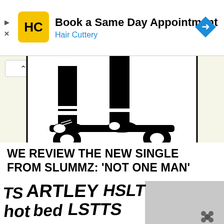[Figure (other): Hair Cuttery advertisement banner with yellow HC logo, text 'Book a Same Day Appointment / Hair Cuttery', and a blue diamond navigation arrow icon]
[Figure (photo): Partial comic-style black and white illustration showing feet/legs of a figure on a skateboard, cropped at top of frame with beige background]
WE REVIEW THE NEW SINGLE FROM SLUMMZ: ‘NOT ONE MAN’
[Figure (photo): Black and white graffiti tag lettering against a light background, partially visible, with the text appearing to be in graffiti wildstyle script. A small floral element visible at lower right.]